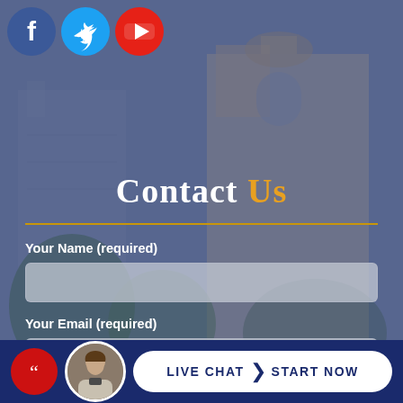[Figure (illustration): Background photo/illustration of a government or historic building (capitol/church-like structure) partially visible through foliage, overlaid with a blue-purple semi-transparent overlay.]
[Figure (logo): Three social media icons in a row: Facebook (blue circle with white 'f'), Twitter (light blue circle with white bird), YouTube (red circle with white play button triangle).]
Contact Us
Your Name (required)
Your Email (required)
[Figure (photo): Live Chat bar at the bottom with a circular avatar photo of a man, a red circle with a phone/dot icon, and a white pill-shaped button reading 'LIVE CHAT > START NOW' on a dark navy background.]